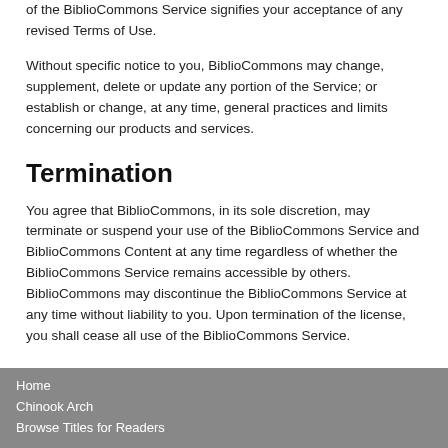of the BiblioCommons Service signifies your acceptance of any revised Terms of Use.
Without specific notice to you, BiblioCommons may change, supplement, delete or update any portion of the Service; or establish or change, at any time, general practices and limits concerning our products and services.
Termination
You agree that BiblioCommons, in its sole discretion, may terminate or suspend your use of the BiblioCommons Service and BiblioCommons Content at any time regardless of whether the BiblioCommons Service remains accessible by others. BiblioCommons may discontinue the BiblioCommons Service at any time without liability to you. Upon termination of the license, you shall cease all use of the BiblioCommons Service.
Home
Chinook Arch
Browse Titles for Readers